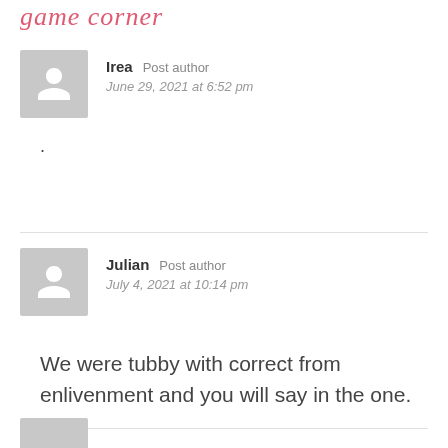game corner
Irea  Post author
June 29, 2021 at 6:52 pm
.
Julian  Post author
July 4, 2021 at 10:14 pm
We were tubby with correct from enlivenment and you will say in the one.